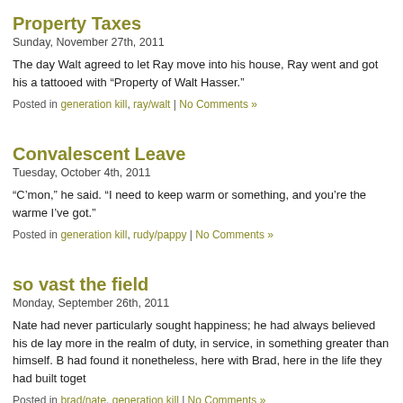Property Taxes
Sunday, November 27th, 2011
The day Walt agreed to let Ray move into his house, Ray went and got his a tattooed with “Property of Walt Hasser.”
Posted in generation kill, ray/walt | No Comments »
Convalescent Leave
Tuesday, October 4th, 2011
“C’mon,” he said. “I need to keep warm or something, and you’re the warme I’ve got.”
Posted in generation kill, rudy/pappy | No Comments »
so vast the field
Monday, September 26th, 2011
Nate had never particularly sought happiness; he had always believed his de lay more in the realm of duty, in service, in something greater than himself. B had found it nonetheless, here with Brad, here in the life they had built toget
Posted in brad/nate, generation kill | No Comments »